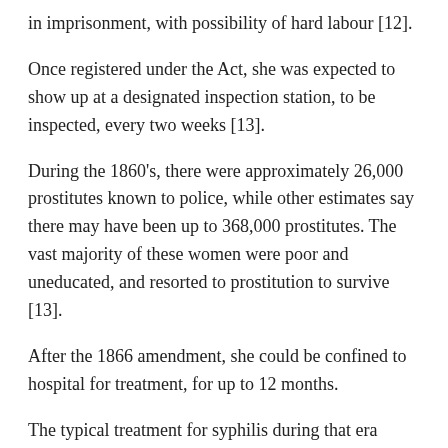in imprisonment, with possibility of hard labour [12].
Once registered under the Act, she was expected to show up at a designated inspection station, to be inspected, every two weeks [13].
During the 1860's, there were approximately 26,000 prostitutes known to police, while other estimates say there may have been up to 368,000 prostitutes. The vast majority of these women were poor and uneducated, and resorted to prostitution to survive [13].
After the 1866 amendment, she could be confined to hospital for treatment, for up to 12 months.
The typical treatment for syphilis during that era would most likely have been mercury rubs. Later, the severe side effects of mercury became too obvious to ignore, and it was replaced